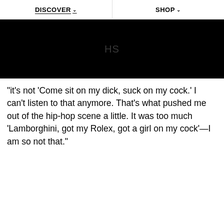DISCOVER   SHOP
[Figure (screenshot): Black video thumbnail with faint 'HS' watermark text in the center]
"it's not 'Come sit on my dick, suck on my cock.' I can't listen to that anymore. That's what pushed me out of the hip-hop scene a little. It was too much 'Lamborghini, got my Rolex, got a girl on my cock'—I am so not that."